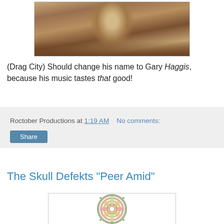[Figure (photo): Sepia-toned vintage photograph of a person, cropped, centered on the page]
(Drag City) Should change his name to Gary Haggis, because his music tastes that good!
Roctober Productions at 1:19 AM    No comments:
Share
The Skull Defekts "Peer Amid"
[Figure (illustration): Colorful circular mandala artwork — album cover for The Skull Defekts 'Peer Amid', featuring intricate geometric and floral patterns in green, pink, orange, yellow and dark colors on white background]